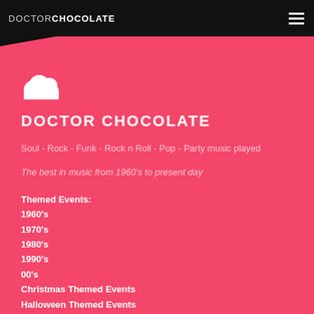DOCTORCHOCOLATE
[Figure (illustration): White cloud icon on pink background]
DOCTOR CHOCOLATE
Soul - Rock - Funk - Rock n Roll - Pop - Party music played
The best in music from 1960’s to present day
Themed Events:
1960’s
1970’s
1980’s
1990’s
00’s
Christmas Themed Events
Halloween Themed Events
James Bond Themed Events